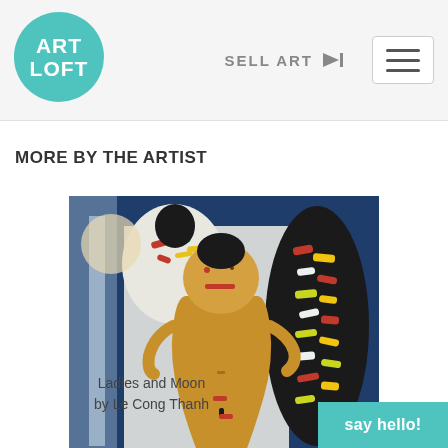ART LOFT | SELL ART
MORE BY THE ARTIST
[Figure (photo): Painting titled 'Ladies and Moon' by Le Cong Thanh. Shows a surrealist figurative painting with three stylized figures against a dark blue background. The central figure is a nude human-like form in warm ochre/tan tones, with simple facial features rendered in red. The left figure has a white rounded top with colorful brush strokes. The right figure is dark with multicolored rectangular markings in red, yellow, white and green.]
Ladies and Moon
by Le Cong Thanh